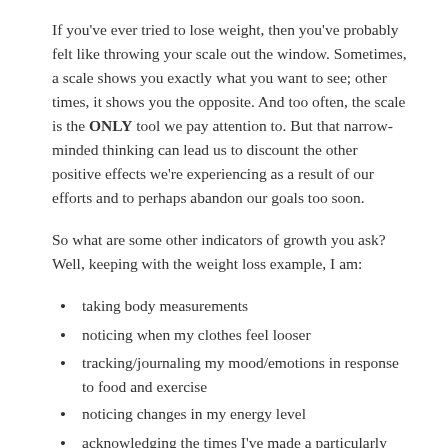If you've ever tried to lose weight, then you've probably felt like throwing your scale out the window. Sometimes, a scale shows you exactly what you want to see; other times, it shows you the opposite. And too often, the scale is the ONLY tool we pay attention to. But that narrow-minded thinking can lead us to discount the other positive effects we're experiencing as a result of our efforts and to perhaps abandon our goals too soon.
So what are some other indicators of growth you ask? Well, keeping with the weight loss example, I am:
taking body measurements
noticing when my clothes feel looser
tracking/journaling my mood/emotions in response to food and exercise
noticing changes in my energy level
acknowledging the times I've made a particularly